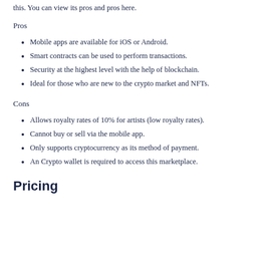this. You can view its pros and pros here.
Pros
Mobile apps are available for iOS or Android.
Smart contracts can be used to perform transactions.
Security at the highest level with the help of blockchain.
Ideal for those who are new to the crypto market and NFTs.
Cons
Allows royalty rates of 10% for artists (low royalty rates).
Cannot buy or sell via the mobile app.
Only supports cryptocurrency as its method of payment.
An Crypto wallet is required to access this marketplace.
Pricing